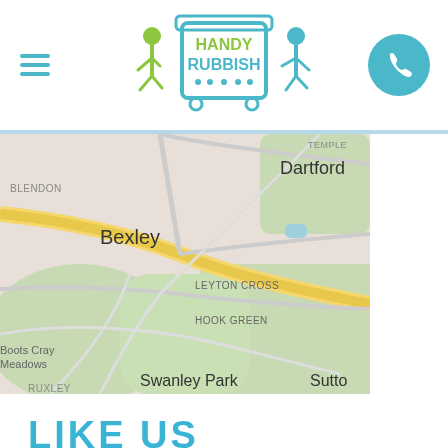[Figure (logo): Handy Rubbish logo with two stick figures carrying a rubbish bin on wheels, teal and green colors]
[Figure (map): Google Maps view showing Bexley, Dartford, Leyton Cross, Hook Green, Swanley Park, Blendon, Ruxley, Boots Cray Meadows area in London]
LIKE US